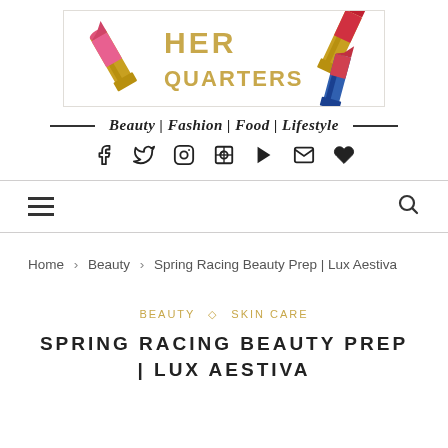[Figure (logo): HerQuarters blog logo with lipstick imagery and gold text reading HER QUARTERS]
Beauty | Fashion | Food | Lifestyle
[Figure (infographic): Social media icons: Facebook, Twitter, Instagram, Pinterest, YouTube, Email, Heart/Bloglovin]
[Figure (infographic): Navigation bar with hamburger menu icon on left and search icon on right]
Home > Beauty > Spring Racing Beauty Prep | Lux Aestiva
BEAUTY ◇ SKIN CARE
SPRING RACING BEAUTY PREP | LUX AESTIVA